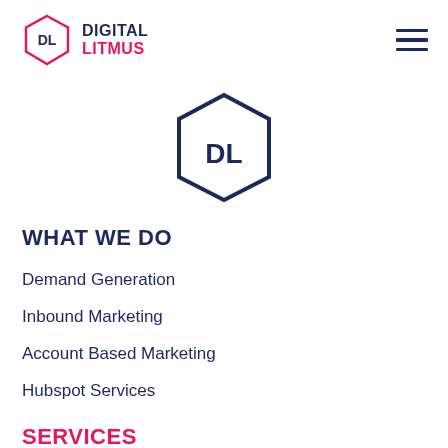[Figure (logo): Digital Litmus logo: hexagon with DL inside on the left, and text DIGITAL in dark navy and LITMUS in pink/magenta on the right]
[Figure (logo): Digital Litmus hexagon icon centered, dark navy outline hexagon with DL text inside]
WHAT WE DO
Demand Generation
Inbound Marketing
Account Based Marketing
Hubspot Services
SERVICES